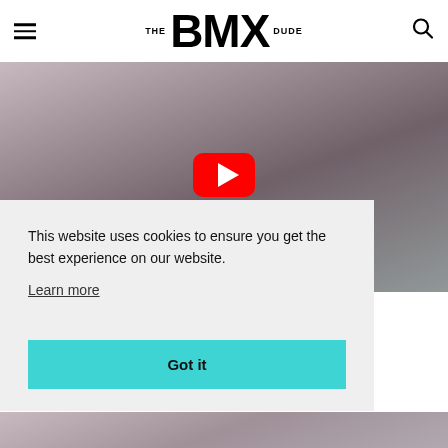THE BMX DUDE
[Figure (screenshot): Video thumbnail showing a person wearing a purple/mauve sweater with overlaid white bold text reading 'JULIAN OTEAGA MIGHT AS WELL' and a YouTube play button in the center]
This website uses cookies to ensure you get the best experience on our website.
Learn more
Got it